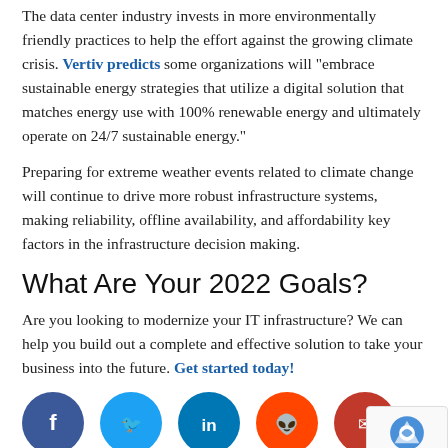The data center industry invests in more environmentally friendly practices to help the effort against the growing climate crisis. Vertiv predicts some organizations will "embrace sustainable energy strategies that utilize a digital solution that matches energy use with 100% renewable energy and ultimately operate on 24/7 sustainable energy."
Preparing for extreme weather events related to climate change will continue to drive more robust infrastructure systems, making reliability, offline availability, and affordability key factors in the infrastructure decision making.
What Are Your 2022 Goals?
Are you looking to modernize your IT infrastructure? We can help you build out a complete and effective solution to take your business into the future. Get started today!
[Figure (illustration): Row of social media share buttons: Facebook (dark blue), Twitter (light blue), LinkedIn (teal), Reddit (orange-red), Email (red). Plus a reCAPTCHA badge in the bottom-right corner.]